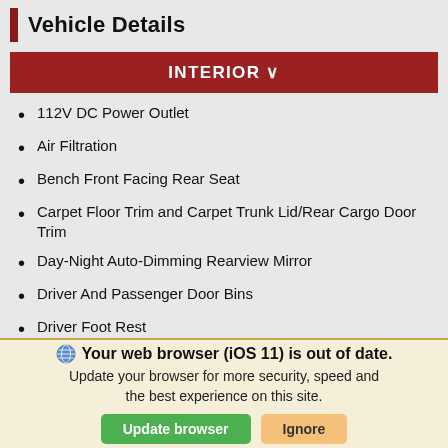Vehicle Details
INTERIOR ∨
112V DC Power Outlet
Air Filtration
Bench Front Facing Rear Seat
Carpet Floor Trim and Carpet Trunk Lid/Rear Cargo Door Trim
Day-Night Auto-Dimming Rearview Mirror
Driver And Passenger Door Bins
Driver Foot Rest
Dual Zone Front Automatic Air Conditioning
Fade-To-Off Interior Lighting
Your web browser (iOS 11) is out of date. Update your browser for more security, speed and the best experience on this site.